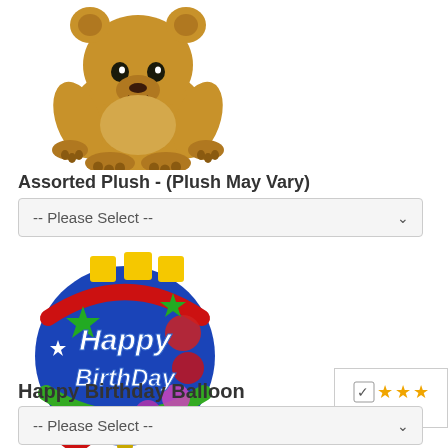[Figure (photo): Brown teddy bear plush toy sitting upright on white background]
Assorted Plush - (Plush May Vary)
-- Please Select --
[Figure (photo): Colorful round Happy Birthday foil balloon with stars and polka dots]
Happy Birthday Balloon
[Figure (other): Awesome Blos badge with yellow/orange star rating icons and checkmark logo]
-- Please Select --